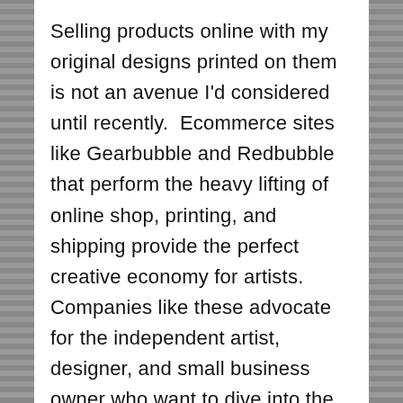Selling products online with my original designs printed on them is not an avenue I'd considered until recently.  Ecommerce sites like Gearbubble and Redbubble that perform the heavy lifting of online shop, printing, and shipping provide the perfect creative economy for artists. Companies like these advocate for the independent artist, designer, and small business owner who want to dive into the large pool of ecommerce, previously reserved for large